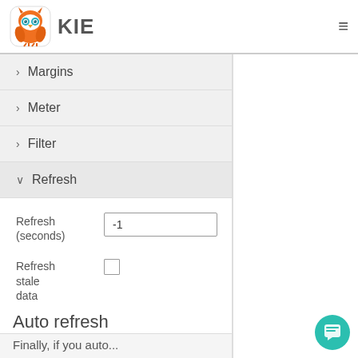KIE
> Margins
> Meter
> Filter
∨ Refresh
Refresh (seconds)   -1
Refresh stale data   [checkbox]
Auto refresh
Finally, if you auto...